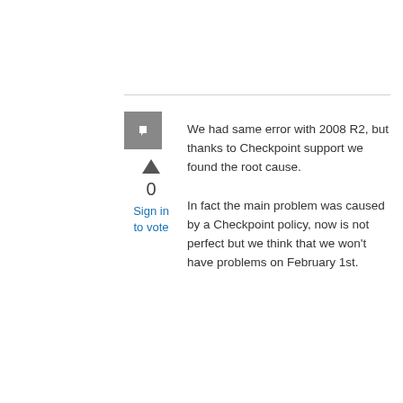[Figure (other): Grey square avatar icon with a speech bubble / bookmark symbol in white]
▲
0
Sign in to vote
We had same error with 2008 R2, but thanks to Checkpoint support we found the root cause.
In fact the main problem was caused by a Checkpoint policy, now is not perfect but we think that we won't have problems on February 1st.